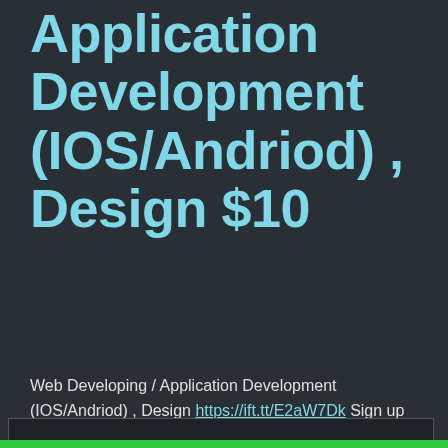Application Development (IOS/Andriod) , Design $10
Web Developing / Application Development (IOS/Andriod) , Design https://ift.tt/E2aW7Dk Sign up for free at http://www.Genkii.io to attract even more paying
Privacy & Cookies: This site uses cookies. By continuing to use this website, you agree to their use.
To find out more, including how to control cookies, see here: Cookie Policy
Close and accept